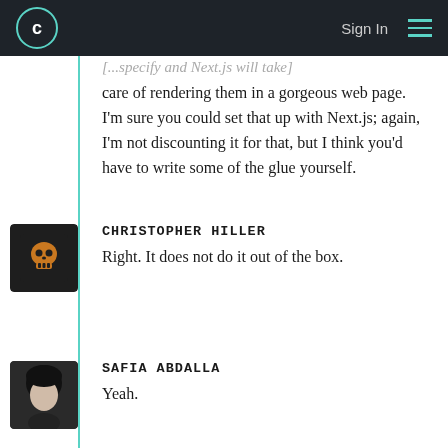C | Sign In
care of rendering them in a gorgeous web page. I'm sure you could set that up with Next.js; again, I'm not discounting it for that, but I think you'd have to write some of the glue yourself.
CHRISTOPHER HILLER
Right. It does not do it out of the box.
SAFIA ABDALLA
Yeah.
KEVIN BALL
I haven't used Next much, but I've used Nuxt,